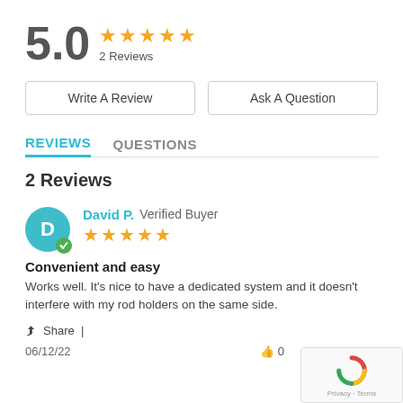5.0 ★★★★★ 2 Reviews
Write A Review
Ask A Question
REVIEWS   QUESTIONS
2 Reviews
David P. Verified Buyer
Convenient and easy
Works well. It's nice to have a dedicated system and it doesn't interfere with my rod holders on the same side.
Share | 06/12/22  0